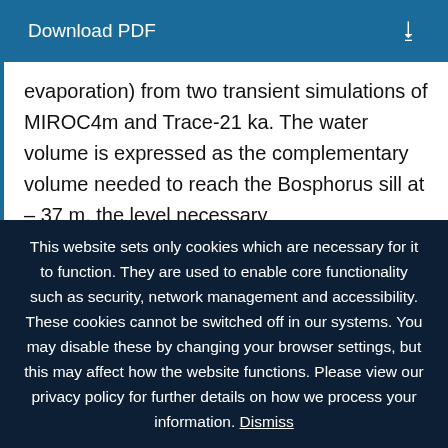Download PDF
evaporation) from two transient simulations of MIROC4m and Trace-21 ka. The water volume is expressed as the complementary volume needed to reach the Bosphorus sill at – 37 m, the level necessary
This website sets only cookies which are necessary for it to function. They are used to enable core functionality such as security, network management and accessibility. These cookies cannot be switched off in our systems. You may disable these by changing your browser settings, but this may affect how the website functions. Please view our privacy policy for further details on how we process your information. Dismiss